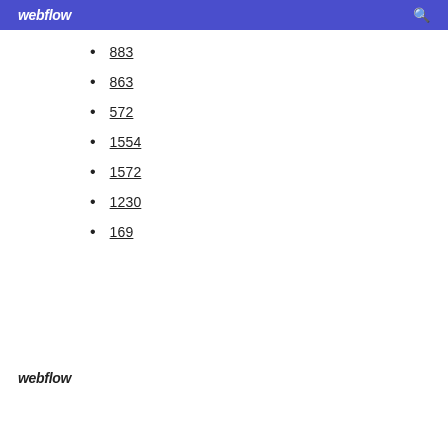webflow
883
863
572
1554
1572
1230
169
webflow